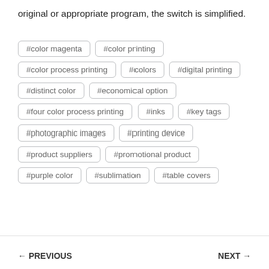original or appropriate program, the switch is simplified.
#color magenta
#color printing
#color process printing
#colors
#digital printing
#distinct color
#economical option
#four color process printing
#inks
#key tags
#photographic images
#printing device
#product suppliers
#promotional product
#purple color
#sublimation
#table covers
← PREVIOUS    NEXT →